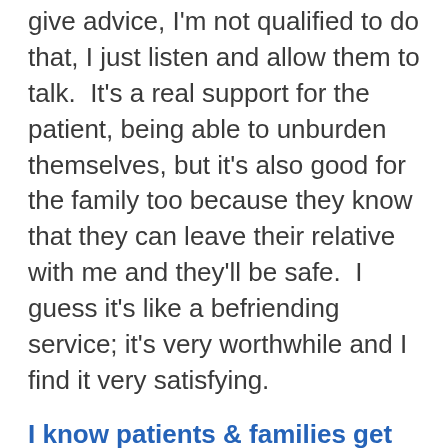give advice, I'm not qualified to do that, I just listen and allow them to talk.  It's a real support for the patient, being able to unburden themselves, but it's also good for the family too because they know that they can leave their relative with me and they'll be safe.  I guess it's like a befriending service; it's very worthwhile and I find it very satisfying.
I know patients & families get the very best care
Sadly, my son was diagnosed with motor